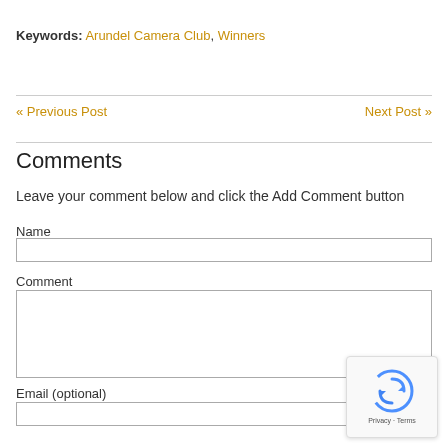Keywords: Arundel Camera Club, Winners
« Previous Post
Next Post »
Comments
Leave your comment below and click the Add Comment button
Name
Comment
Email (optional)